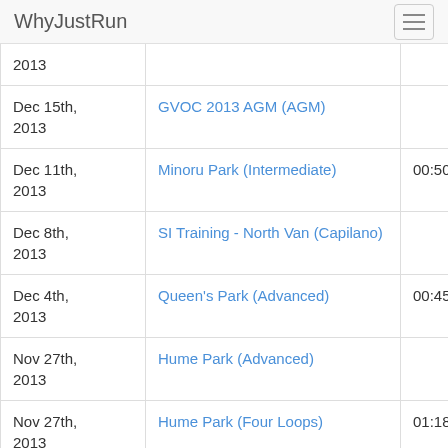WhyJustRun
| Date | Event | Time |
| --- | --- | --- |
| 2013 |  |  |
| Dec 15th, 2013 | GVOC 2013 AGM (AGM) |  |
| Dec 11th, 2013 | Minoru Park (Intermediate) | 00:50:04 |
| Dec 8th, 2013 | SI Training - North Van (Capilano) |  |
| Dec 4th, 2013 | Queen's Park (Advanced) | 00:45:43 |
| Nov 27th, 2013 | Hume Park (Advanced) |  |
| Nov 27th, 2013 | Hume Park (Four Loops) | 01:18:38 |
| Nov 24th, 2013 | Stanley Park (Score) |  |
| Nov 6th, | BCIT (Advanced) | 01:02:37 |